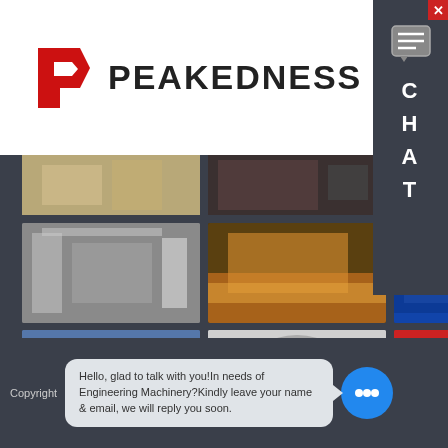[Figure (logo): Peakedness company logo with red P-arrow icon and bold black PEAKEDNESS text]
[Figure (photo): Grid of 9 industrial machinery photos showing crushers, mining equipment, and construction machinery on dark background]
[Figure (screenshot): Chat widget sidebar showing CHAT text on dark background with close button]
Copyright
Hello, glad to talk with you!In needs of Engineering Machinery?Kindly leave your name & email, we will reply you soon.
[Figure (illustration): Blue circular chat avatar with three dots]